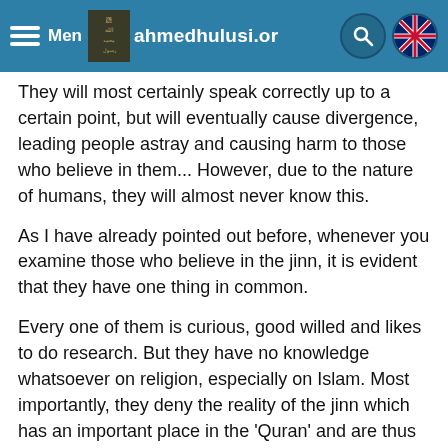Menu ahmedhulusi.org
They will most certainly speak correctly up to a certain point, but will eventually cause divergence, leading people astray and causing harm to those who believe in them... However, due to the nature of humans, they will almost never know this.
As I have already pointed out before, whenever you examine those who believe in the jinn, it is evident that they have one thing in common.
Every one of them is curious, good willed and likes to do research. But they have no knowledge whatsoever on religion, especially on Islam. Most importantly, they deny the reality of the jinn which has an important place in the 'Quran' and are thus easy targets for the jinn who fool them in the guise of 'spirits'...